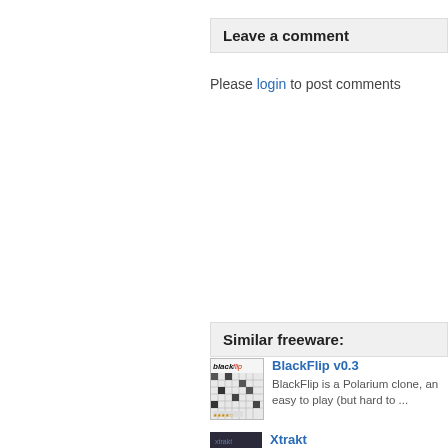Leave a comment
Please login to post comments
Similar freeware:
[Figure (screenshot): BlackFlip v0.3 application thumbnail showing a grid-based puzzle game with logo]
BlackFlip v0.3
BlackFlip is a Polarium clone, an easy to play (but hard to ...
[Figure (screenshot): Xtrakt application dark thumbnail]
Xtrakt
Xtrakt is new 3D game for Experia...